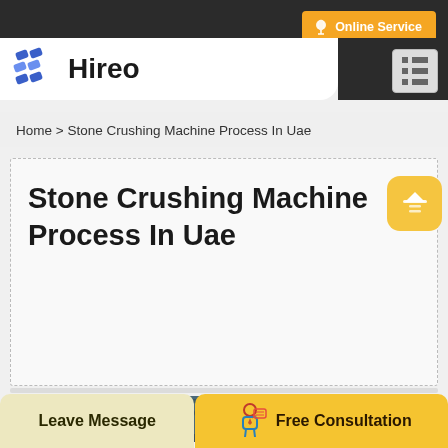[Figure (screenshot): Website page header with dark top bar, Hireo logo on white background, navigation menu icon, orange Online Service button]
Home > Stone Crushing Machine Process In Uae
Stone Crushing Machine Process In Uae
[Figure (photo): Factory interior with industrial machinery]
Leave Message
Free Consultation